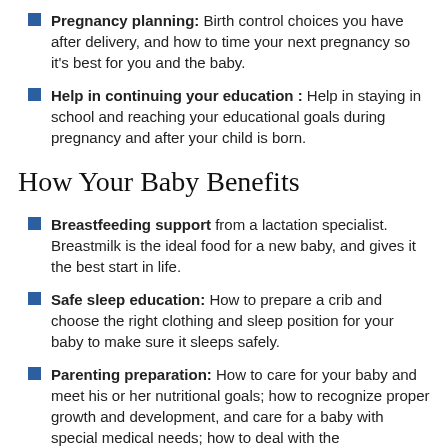Pregnancy planning: Birth control choices you have after delivery, and how to time your next pregnancy so it's best for you and the baby.
Help in continuing your education : Help in staying in school and reaching your educational goals during pregnancy and after your child is born.
How Your Baby Benefits
Breastfeeding support from a lactation specialist. Breastmilk is the ideal food for a new baby, and gives it the best start in life.
Safe sleep education: How to prepare a crib and choose the right clothing and sleep position for your baby to make sure it sleeps safely.
Parenting preparation: How to care for your baby and meet his or her nutritional goals; how to recognize proper growth and development, and care for a baby with special medical needs; how to deal with the